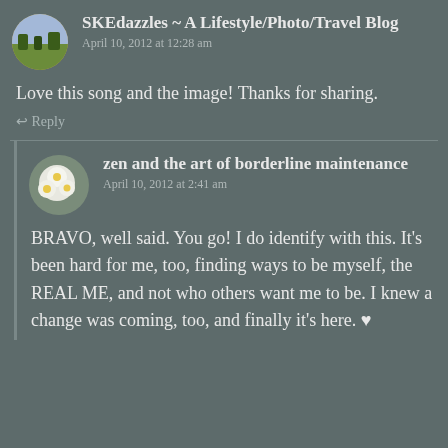[Figure (illustration): Circular avatar of a landscape with fields and trees]
SKEdazzles ~ A Lifestyle/Photo/Travel Blog
April 10, 2012 at 12:28 am
Love this song and the image! Thanks for sharing.
↩ Reply
[Figure (illustration): Circular avatar of white flowers with yellow centers]
zen and the art of borderline maintenance
April 10, 2012 at 2:41 am
BRAVO, well said. You go! I do identify with this. It's been hard for me, too, finding ways to be myself, the REAL ME, and not who others want me to be. I knew a change was coming, too, and finally it's here. ♥